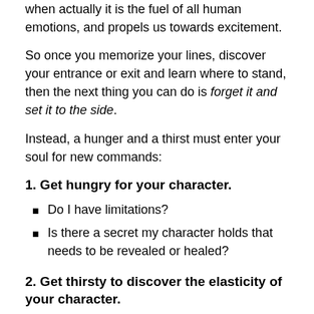when actually it is the fuel of all human emotions, and propels us towards excitement.
So once you memorize your lines, discover your entrance or exit and learn where to stand, then the next thing you can do is forget it and set it to the side.
Instead, a hunger and a thirst must enter your soul for new commands:
1. Get hungry for your character.
Do I have limitations?
Is there a secret my character holds that needs to be revealed or healed?
2. Get thirsty to discover the elasticity of your character.